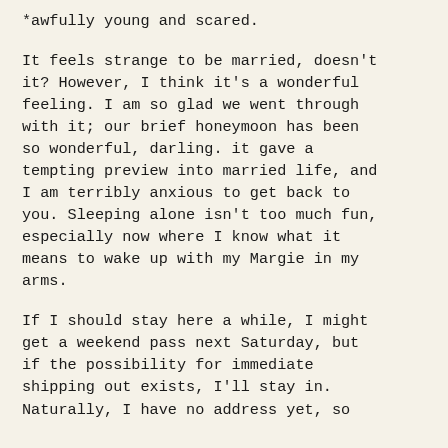*awfully young and scared.
It feels strange to be married, doesn't it? However, I think it's a wonderful feeling. I am so glad we went through with it; our brief honeymoon has been so wonderful, darling. it gave a tempting preview into married life, and I am terribly anxious to get back to you. Sleeping alone isn't too much fun, especially now where I know what it means to wake up with my Margie in my arms.
If I should stay here a while, I might get a weekend pass next Saturday, but if the possibility for immediate shipping out exists, I'll stay in. Naturally, I have no address yet, so